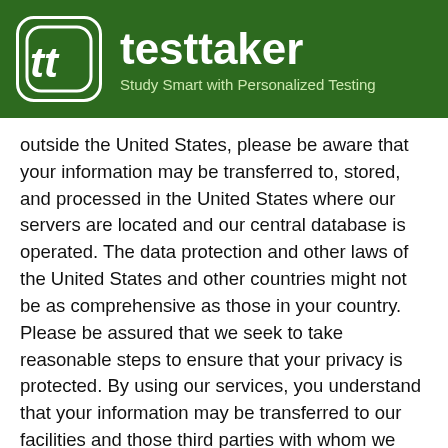[Figure (logo): Testtaker app logo with 'tt' icon on dark green background and tagline 'Study Smart with Personalized Testing']
outside the United States, please be aware that your information may be transferred to, stored, and processed in the United States where our servers are located and our central database is operated. The data protection and other laws of the United States and other countries might not be as comprehensive as those in your country. Please be assured that we seek to take reasonable steps to ensure that your privacy is protected. By using our services, you understand that your information may be transferred to our facilities and those third parties with whom we share it as described in this privacy policy.
No Rights of Third Parties